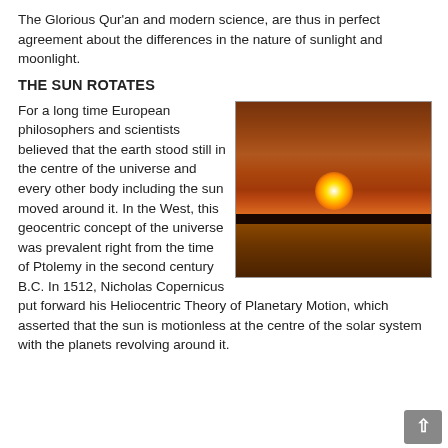The Glorious Qur'an and modern science, are thus in perfect agreement about the differences in the nature of sunlight and moonlight.
THE SUN ROTATES
For a long time European philosophers and scientists believed that the earth stood still in the centre of the universe and every other body including the sun moved around it. In the West, this geocentric concept of the universe was prevalent right from the time of Ptolemy in the second century B.C. In 1512, Nicholas Copernicus put forward his Heliocentric Theory of Planetary Motion, which asserted that the sun is motionless at the centre of the solar system with the planets revolving around it.
[Figure (photo): A sunset photograph showing the sun setting over water with an orange and red sky.]